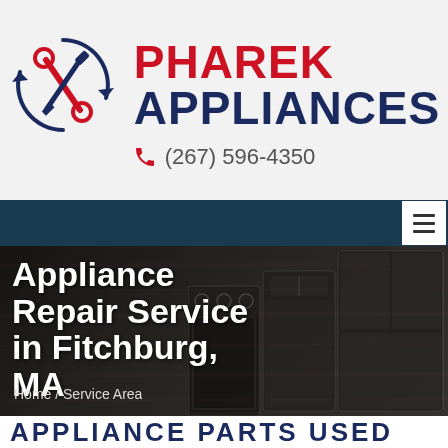[Figure (logo): Pharek Appliances logo with crossed wrench and screwdriver tools in circular arrow design]
PHAREK APPLIANCES
(267) 596-4350
[Figure (screenshot): Dark navy navigation bar with white hamburger menu icon on right]
[Figure (photo): Dark kitchen appliances photo showing oven range, dishwasher, and refrigerator on dark wood background]
Appliance Repair Service in Fitchburg, MA
Home / Service Area
APPLIANCE PARTS USED